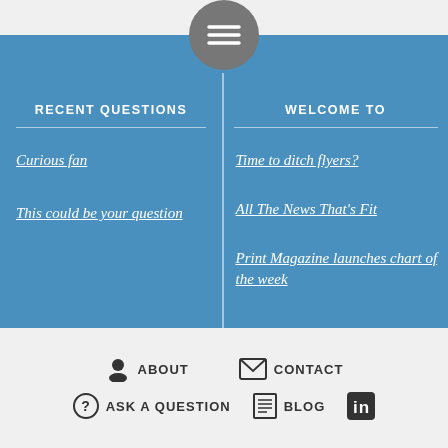[Figure (other): Hamburger menu button (three horizontal lines) in a gray circle at top center]
RECENT QUESTIONS
Curious fan
This could be your question
WELCOME TO
Time to ditch flyers?
All The News That's Fit
Print Magazine launches chart of the week
ABOUT  CONTACT  ASK A QUESTION  BLOG  LinkedIn